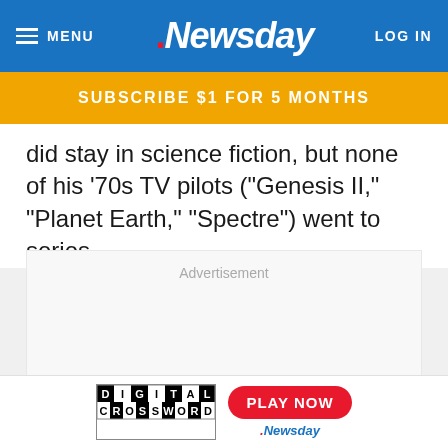MENU | Newsday | LOG IN
SUBSCRIBE $1 FOR 5 MONTHS
did stay in science fiction, but none of his '70s TV pilots ("Genesis II," "Planet Earth," "Spectre") went to series.
[Figure (other): Advertisement placeholder area with label 'Advertisement']
[Figure (other): Digital Crossword logo with Play Now button and Newsday branding at bottom of page]